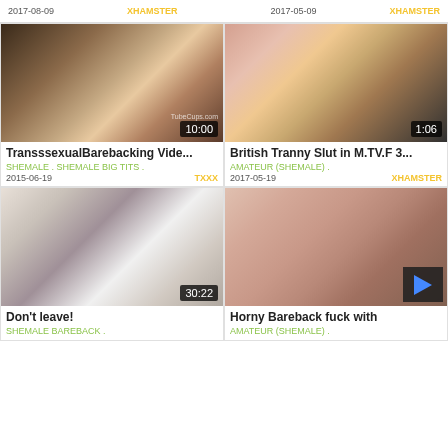[Figure (screenshot): Video thumbnail grid - top header row showing dates and site names]
[Figure (screenshot): TranssexualBarebacking video thumbnail with duration 10:00, watermark TubeCups.com]
TransssexualBarebacking Vide...
SHEMALE . SHEMALE BIG TITS .
2015-06-19  TXXX
[Figure (screenshot): British Tranny Slut in M.TV.F 3... video thumbnail with duration 1:06]
British Tranny Slut in M.TV.F 3...
AMATEUR (SHEMALE) .
2017-05-19  XHAMSTER
[Figure (screenshot): Don't leave! video thumbnail with duration 30:22]
Don't leave!
SHEMALE BAREBACK .
[Figure (screenshot): Horny Bareback fuck with... video thumbnail with play button overlay]
Horny Bareback fuck with
AMATEUR (SHEMALE) .